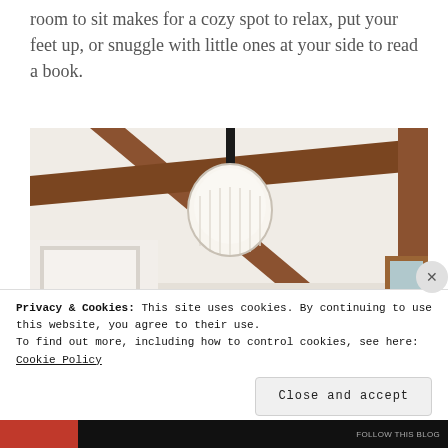room to sit makes for a cozy spot to relax, put your feet up, or snuggle with little ones at your side to read a book.
[Figure (photo): Interior room photo showing a white ceiling with diagonal wooden beams and a hanging globe light fixture. White walls visible with a doorway arch on the left and a wooden-framed window or cabinet on the right.]
Privacy & Cookies: This site uses cookies. By continuing to use this website, you agree to their use.
To find out more, including how to control cookies, see here: Cookie Policy
Close and accept